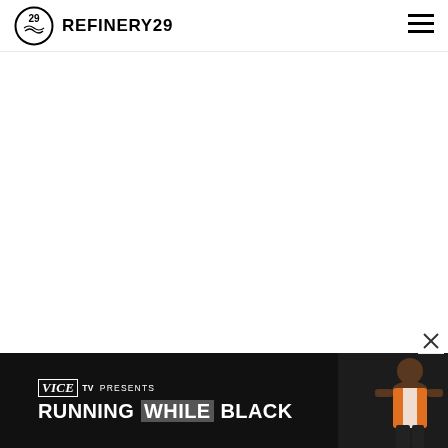REFINERY29
[Figure (screenshot): Refinery29 website screenshot showing a mostly blank white content area below the navigation header, with a VICE TV advertisement banner at the bottom reading 'VICE TV PRESENTS RUNNING WHILE BLACK' with a photo of a person on the right side.]